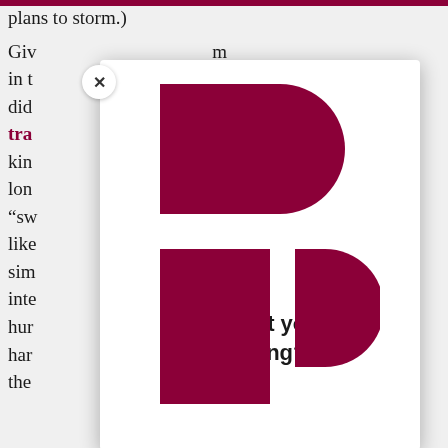plans to storm.)
Giv... m
in t...
did... ne
tra... y
kin... ave
lon...
"sw...
like... as
sim...
inte...
hur...
har...
the...
[Figure (logo): Pandora logo in dark magenta/maroon color, consisting of a large P shape made of geometric forms: a wide rectangle with a semicircle on the right for the top part, and a tall narrow rectangle with a small D shape to its right for the bottom part.]
Like what you're reading?